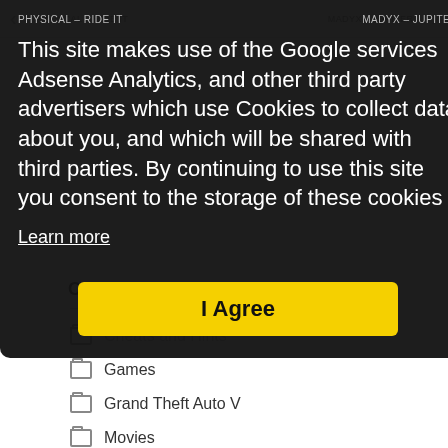PHYSICAL – RIDE IT   MADYX – JUPITER
This site makes use of the Google services Adsense Analytics, and other third party advertisers which use Cookies to collect data about you, and which will be shared with third parties. By continuing to use this site you consent to the storage of these cookies
Learn more
I Agree
Categories
Cheats and Hints
Games
Grand Theft Auto V
Movies
Music
Trainers
Trance